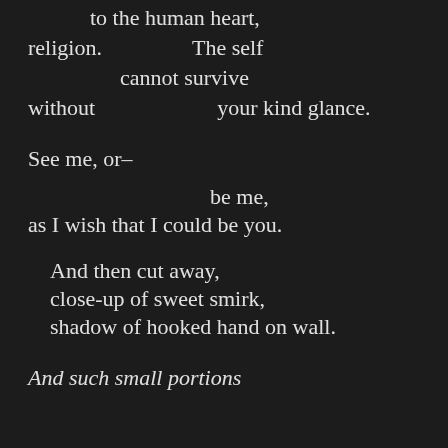to the human heart,
religion.            The self
      cannot survive
without                    your kind glance.

See me, or–

                        be me,
as I wish that I could be you.

    And then cut away,
    close-up of sweet smirk,
    shadow of hooked hand on wall.

And such small portions